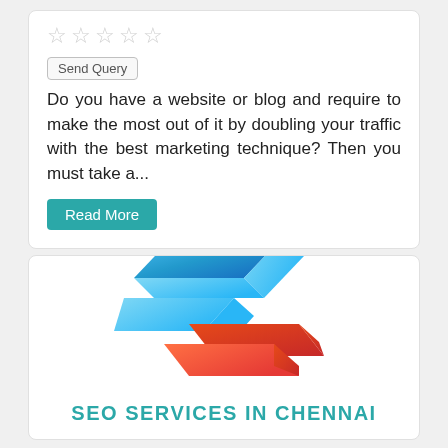[Figure (other): Five empty star rating icons in a row]
Send Query
Do you have a website or blog and require to make the most out of it by doubling your traffic with the best marketing technique? Then you must take a...
Read More
[Figure (logo): Logo with two ribbon-like chevron shapes: upper one in blue gradient and lower one in orange-red, forming a stylized double arrow or Z shape]
SEO SERVICES IN CHENNAI